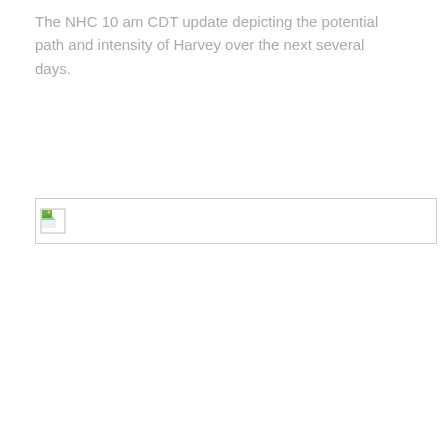The NHC 10 am CDT update depicting the potential path and intensity of Harvey over the next several days.
[Figure (photo): Broken/missing image placeholder with small broken image icon, representing NHC 10 am CDT update map of Hurricane Harvey's potential path and intensity.]